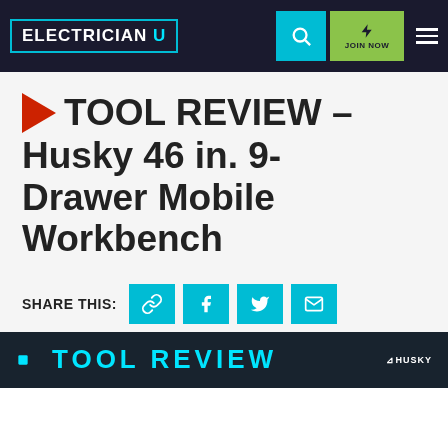ELECTRICIAN U — site header with search, JOIN NOW, and menu buttons
▶ TOOL REVIEW – Husky 46 in. 9-Drawer Mobile Workbench
SHARE THIS: [link] [facebook] [twitter] [email]
[Figure (photo): Bottom strip showing a dark background with 'TOOL REVIEW' text in cyan and a Husky logo in the bottom-right corner]